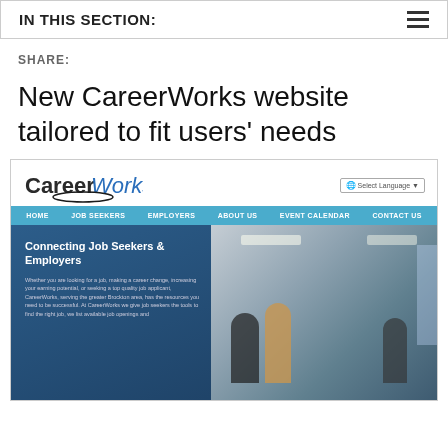IN THIS SECTION:
SHARE:
New CareerWorks website tailored to fit users' needs
[Figure (screenshot): Screenshot of the CareerWorks website showing the logo, navigation bar with HOME, JOB SEEKERS, EMPLOYERS, ABOUT US, EVENT CALENDAR, CONTACT US, a hero section titled 'Connecting Job Seekers & Employers' with body text about serving the greater Brockton area, and a photo of people in a classroom/office setting.]